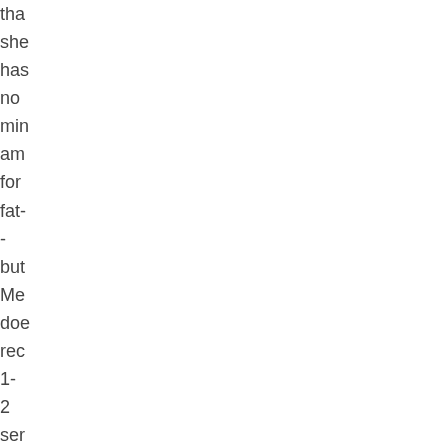tha she has no min am for fat- - but Me doe rec 1- 2 ser of nut or see a day My